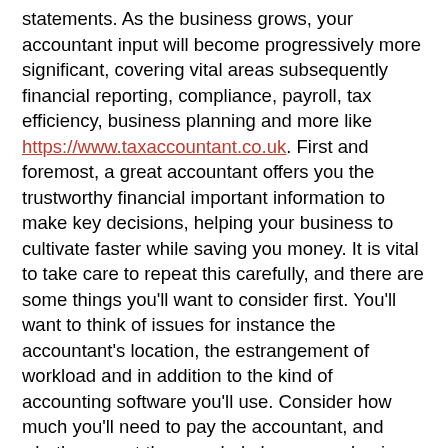statements. As the business grows, your accountant input will become progressively more significant, covering vital areas subsequently financial reporting, compliance, payroll, tax efficiency, business planning and more like https://www.taxaccountant.co.uk. First and foremost, a great accountant offers you the trustworthy financial important information to make key decisions, helping your business to cultivate faster while saving you money. It is vital to take care to repeat this carefully, and there are some things you'll want to consider first. You'll want to think of issues for instance the accountant's location, the estrangement of workload and in addition to the kind of accounting software you'll use. Consider how much you'll need to pay the accountant, and whether or not they can help lower your business taxes. It in fact is in your business best interests to have an experienced, capable person handling the most important aspects of your organization – your finances. Just the right person can keep you time and money every year. So check out things you should consider while you are